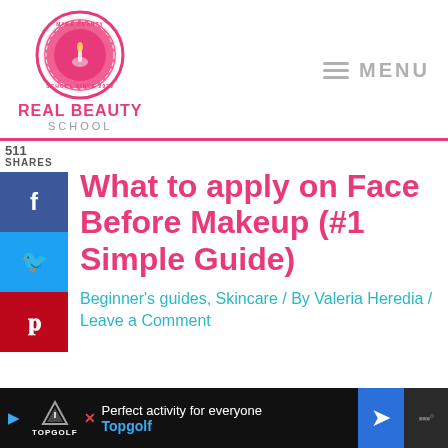[Figure (logo): Real Beauty School logo: pink circular badge with brand name]
MENU
511
SHARES
What to apply on Face Before Makeup (#1 Simple Guide)
Beginner's guides, Skincare / By Valeria Heredia / Leave a Comment
[Figure (other): Bottom advertisement bar: Perfect activity for everyone - Topgolf]